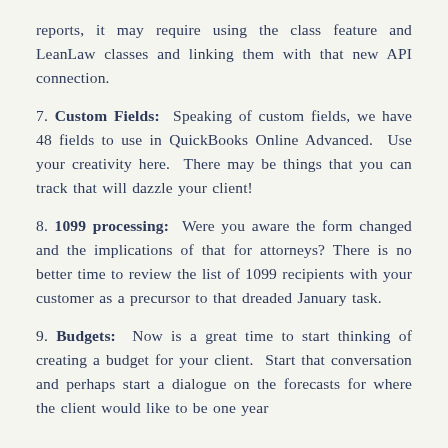reports, it may require using the class feature and LeanLaw classes and linking them with that new API connection.
7. Custom Fields: Speaking of custom fields, we have 48 fields to use in QuickBooks Online Advanced. Use your creativity here. There may be things that you can track that will dazzle your client!
8. 1099 processing: Were you aware the form changed and the implications of that for attorneys? There is no better time to review the list of 1099 recipients with your customer as a precursor to that dreaded January task.
9. Budgets: Now is a great time to start thinking of creating a budget for your client. Start that conversation and perhaps start a dialogue on the forecasts for where the client would like to be one year...